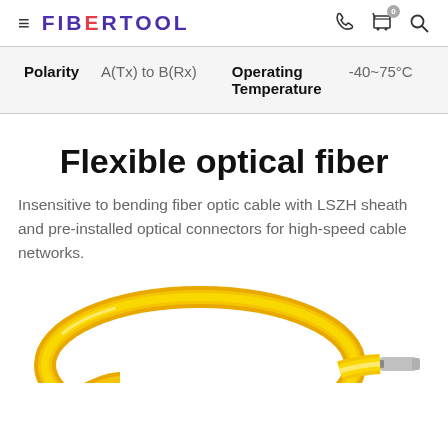FIBERTOOL
| Polarity |  | Operating Temperature |  |
| --- | --- | --- | --- |
| Polarity | A(Tx) to B(Rx) | Operating Temperature | -40~75°C |
Flexible optical fiber
Insensitive to bending fiber optic cable with LSZH sheath and pre-installed optical connectors for high-speed cable networks.
[Figure (photo): Yellow flexible fiber optic cable coiled in a loop with a connector visible at the end, shown against a white background.]